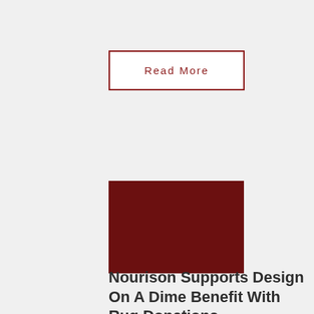Read More
[Figure (photo): Dark red/maroon rectangular image block]
Nourison Supports Design On A Dime Benefit With Rug Donations
Nourison donated area rugs and home accents to five vignettes, including Bailey Li Interiors, Beth Diana Smith Interior Design, Elissa Grayer Interior Design, Francis Interiors, and Saudah Saleem